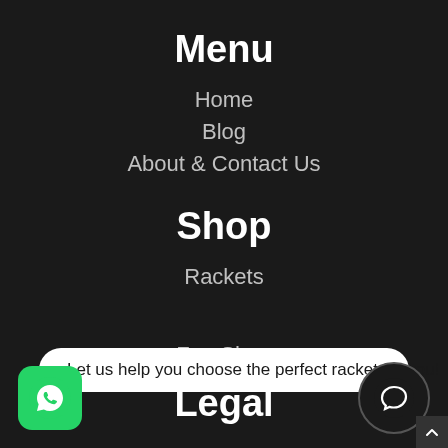Menu
Home
Blog
About & Contact Us
Shop
Rackets
Let us help you choose the perfect racket for you!
Fan Shop
Legal
[Figure (logo): WhatsApp green logo icon]
[Figure (illustration): Dark circular chat bubble icon]